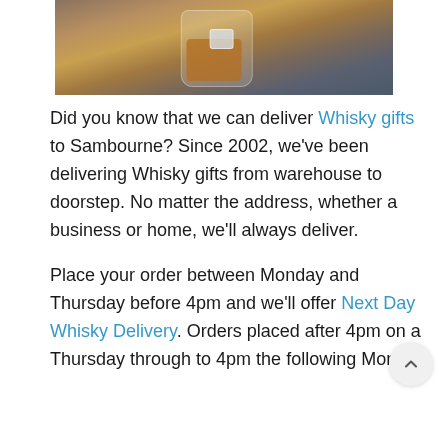[Figure (photo): A glass of whisky with ice cubes on a dark surface, photographed from above at an angle. Background is a dark grey/blue textured surface.]
Did you know that we can deliver Whisky gifts to Sambourne? Since 2002, we've been delivering Whisky gifts from warehouse to doorstep. No matter the address, whether a business or home, we'll always deliver.
Place your order between Monday and Thursday before 4pm and we'll offer Next Day Whisky Delivery. Orders placed after 4pm on a Thursday through to 4pm the following Monday will be delivered on a Tuesday, bb